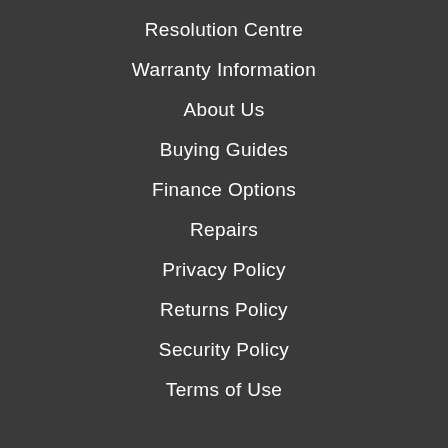Resolution Centre
Warranty Information
About Us
Buying Guides
Finance Options
Repairs
Privacy Policy
Returns Policy
Security Policy
Terms of Use